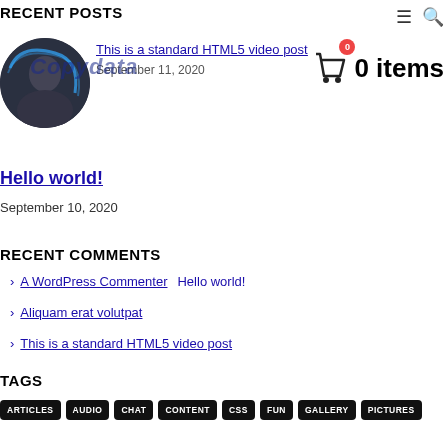RECENT POSTS
[Figure (photo): Circular thumbnail image of a person, dark tones]
This is a standard HTML5 video post
September 11, 2020
[Figure (logo): Copydata logo watermark overlaid in blue italic text]
[Figure (other): Shopping cart icon with 0 badge showing 0 items]
Hello world!
September 10, 2020
RECENT COMMENTS
A WordPress Commenter    Hello world!
Aliquam erat volutpat
This is a standard HTML5 video post
TAGS
ARTICLES
AUDIO
CHAT
CONTENT
CSS
FUN
GALLERY
PICTURES